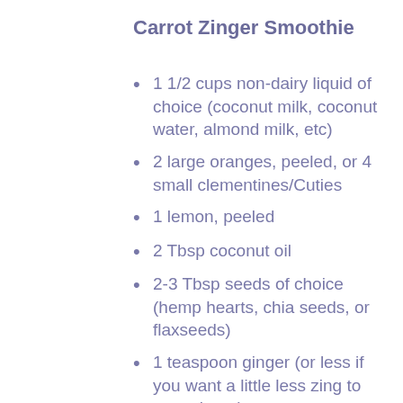Carrot Zinger Smoothie
1 1/2 cups non-dairy liquid of choice (coconut milk, coconut water, almond milk, etc)
2 large oranges, peeled, or 4 small clementines/Cuties
1 lemon, peeled
2 Tbsp coconut oil
2-3 Tbsp seeds of choice (hemp hearts, chia seeds, or flaxseeds)
1 teaspoon ginger (or less if you want a little less zing to your zinger)